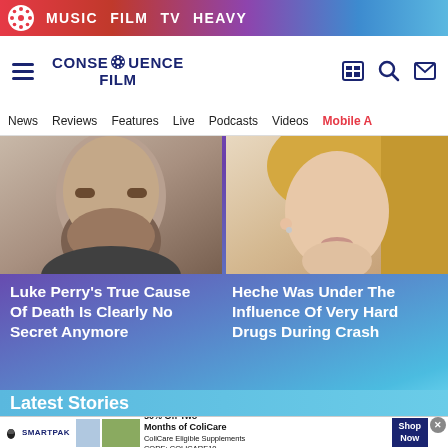MUSIC  FILM  TV  HEAVY
[Figure (screenshot): Consequence Film website logo with hamburger menu and navigation icons]
News  Reviews  Features  Live  Podcasts  Videos  Mobile A
[Figure (photo): Close-up photo of man's face with beard (Luke Perry)]
[Figure (photo): Close-up photo of woman's face with blonde hair (Anne Heche)]
Luke Perry's True Cause Of Death Is Clearly No Secret Anymore
Heche Was Under The Influence Of Very Hard Drugs During Crash
Latest Stories
[Figure (photo): SmartPak advertisement: 50% Off Two Months of ColiCare, ColiCare Eligible Supplements, CODE: COLICARE10]